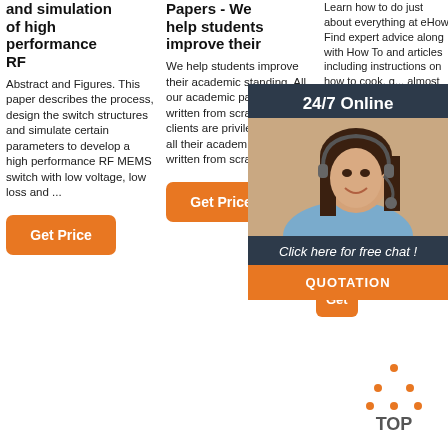and simulation of high performance RF
Abstract and Figures. This paper describes the process, design the switch structures and simulate certain parameters to develop a high performance RF MEMS switch with low voltage, low loss and ...
[Figure (other): Orange 'Get Price' button]
Papers - We help students improve their
We help students improve their academic standing. All our academic papers are written from scratch. All our clients are privileged to have all their academic papers written from scratch.
[Figure (other): Orange 'Get Price' button]
Learn how to do just about everything at eHow. Find expert advice along with How To and articles including instructions on how to cook, g... almost
[Figure (other): 24/7 Online chat overlay with woman photo and QUOTATION button]
[Figure (other): Orange 'Get ...' button (col3)]
[Figure (logo): TOP arrow logo with dots]